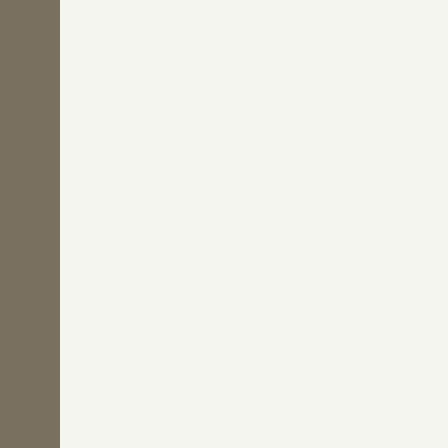Bailey, T / Currie, A / Leew...
Doctor! Doctor!
For voice and piano
Lyricists: Bailey, T / Currie, A / Le...
Instrumentation/voices: Ges,Kla...
Edition no.: SIK6/4089
Price: € 5,90 incl. VAT plus deliv...
Hold Me Now
Lyricists: Bailey, T / Currie, A / Le...
Instrumentation/voices: Ges,Kla...
Edition no.: SIK6/4090
Price: € 5,90 incl. VAT plus deliv...
Bazant, Karl
Schön ist die Liebe im Hafen!
Waltz song. For voice and piano...
Lyricists: Schachner, Hans
Instrumentation/voices: Ges,Kla...
Edition no.: SIK6/4079
Price: € 5,90 incl. VAT plus deliv...
Berking, Willy
Du hast so wunderschöne bla...
Foxtrot. For voice and piano
Lyricists: Woezel, Heinz
Instrumentation/voices: Ges,Kla...
Edition no.: SIK6/4074
Price: € 5,90 incl. VAT plus deliv...